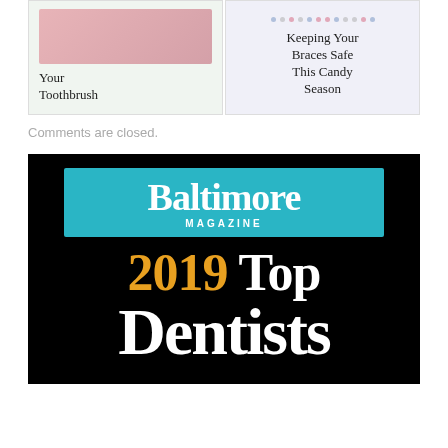[Figure (photo): Card showing toothbrush image with title text about toothbrush]
[Figure (illustration): Card with dots pattern and text about keeping braces safe this candy season]
Comments are closed.
[Figure (logo): Baltimore Magazine 2019 Top Dentists award badge on black background with teal Baltimore Magazine logo and gold/white text '2019 Top Dentists']